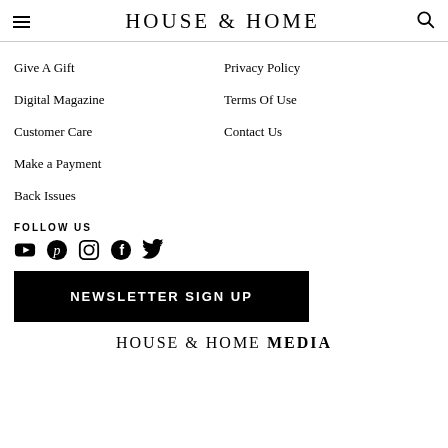HOUSE & HOME
Give A Gift
Privacy Policy
Digital Magazine
Terms Of Use
Customer Care
Contact Us
Make a Payment
Back Issues
FOLLOW US
NEWSLETTER SIGN UP
HOUSE & HOME MEDIA